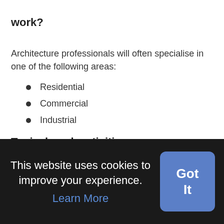work?
Architecture professionals will often specialise in one of the following areas:
Residential
Commercial
Industrial
Typical work activities
[faded/partially visible text at bottom of main content]
This website uses cookies to improve your experience. Learn More
Got It